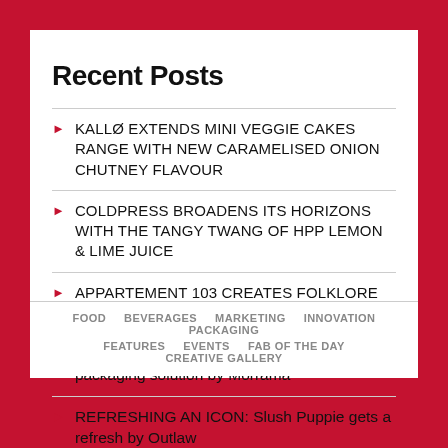Recent Posts
KALLØ EXTENDS MINI VEGGIE CAKES RANGE WITH NEW CARAMELISED ONION CHUTNEY FLAVOUR
COLDPRESS BROADENS ITS HORIZONS WITH THE TANGY TWANG OF HPP LEMON & LIME JUICE
APPARTEMENT 103 CREATES FOLKLORE RANGE FOR RON CIHUATAN
wagamama launches a more sustainable packaging solution by Morrama
REFRESHING AN ICON: Slush Puppie gets a refresh by Outlaw
FOOD   BEVERAGES   MARKETING   INNOVATION   PACKAGING   FEATURES   EVENTS   FAB OF THE DAY   CREATIVE GALLERY